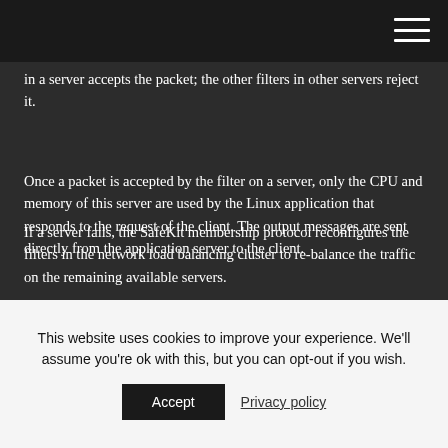in a server accepts the packet; the other filters in other servers reject it.
Once a packet is accepted by the filter on a server, only the CPU and memory of this server are used by the Linux application that responds to the request of the client. The output messages are sent directly from the application server to the client.
If a server fails, the SafeKit membership protocol reconfigures the filters in the network load balancing cluster to re-balance the traffic on the remaining available servers.
This website uses cookies to improve your experience. We'll assume you're ok with this, but you can opt-out if you wish.